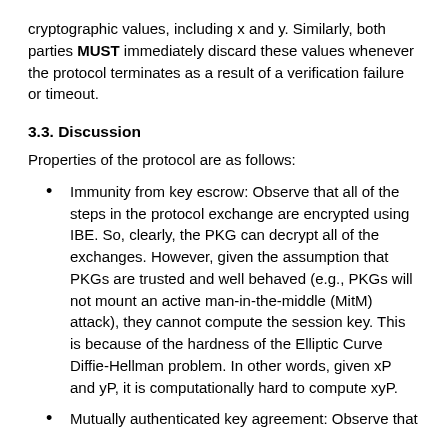cryptographic values, including x and y. Similarly, both parties MUST immediately discard these values whenever the protocol terminates as a result of a verification failure or timeout.
3.3. Discussion
Properties of the protocol are as follows:
Immunity from key escrow: Observe that all of the steps in the protocol exchange are encrypted using IBE. So, clearly, the PKG can decrypt all of the exchanges. However, given the assumption that PKGs are trusted and well behaved (e.g., PKGs will not mount an active man-in-the-middle (MitM) attack), they cannot compute the session key. This is because of the hardness of the Elliptic Curve Diffie-Hellman problem. In other words, given xP and yP, it is computationally hard to compute xyP.
Mutually authenticated key agreement: Observe that